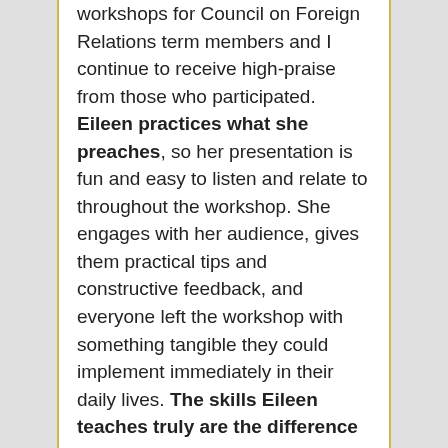workshops for Council on Foreign Relations term members and I continue to receive high-praise from those who participated. Eileen practices what she preaches, so her presentation is fun and easy to listen and relate to throughout the workshop. She engages with her audience, gives them practical tips and constructive feedback, and everyone left the workshop with something tangible they could implement immediately in their daily lives. The skills Eileen teaches truly are the difference maker in careers and anyone who takes part in one will walk away feeling that they have made a positive